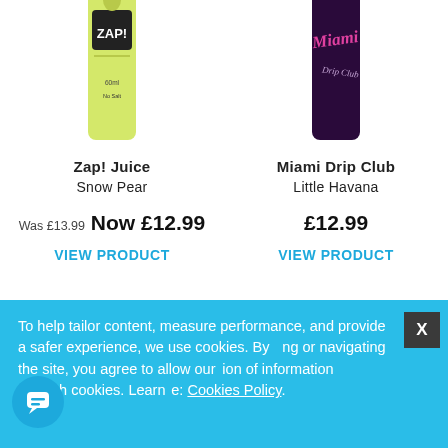[Figure (photo): Zap! Juice Snow Pear product can - yellow/green can with ZAP! logo and pear graphic, partially cropped at top]
Zap! Juice
Snow Pear
Was £13.99 Now £12.99
VIEW PRODUCT
[Figure (photo): Miami Drip Club Little Havana product can - dark purple/black can with Miami branding, partially cropped at top]
Miami Drip Club
Little Havana
£12.99
VIEW PRODUCT
[Figure (other): Orange circular badge with text '2 FOR £19.99']
To help tailor content, measure performance, and provide a safer experience, we use cookies. By ng or navigating the site, you agree to allow our ion of information through cookies. Learn e: Cookies Policy.